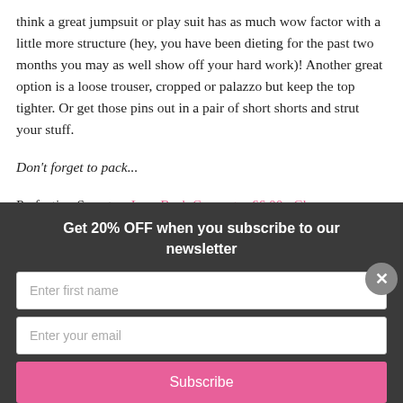think a great jumpsuit or play suit has as much wow factor with a little more structure (hey, you have been dieting for the past two months you may as well show off your hard work)! Another great option is a loose trouser, cropped or palazzo but keep the top tighter. Or get those pins out in a pair of short shorts and strut your stuff.
Don't forget to pack...
Perfection Secrets – Low Back Converter £6.00 . Cleavage
Get 20% OFF when you subscribe to our newsletter
Enter first name
Enter your email
Subscribe